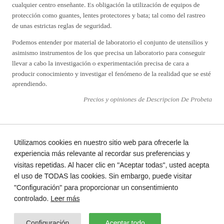cualquier centro enseñante. Es obligación la utilización de equipos de protección como guantes, lentes protectores y bata; tal como del rastreo de unas estrictas reglas de seguridad.
Podemos entender por material de laboratorio el conjunto de utensilios y asimismo instrumentos de los que precisa un laboratorio para conseguir llevar a cabo la investigación o experimentación precisa de cara a producir conocimiento y investigar el fenómeno de la realidad que se esté aprendiendo.
Precios y opiniones de Descripcion De Probeta
Utilizamos cookies en nuestro sitio web para ofrecerle la experiencia más relevante al recordar sus preferencias y visitas repetidas. Al hacer clic en "Aceptar todas", usted acepta el uso de TODAS las cookies. Sin embargo, puede visitar "Configuración" para proporcionar un consentimiento controlado. Leer más
Configuración | Aceptar todo